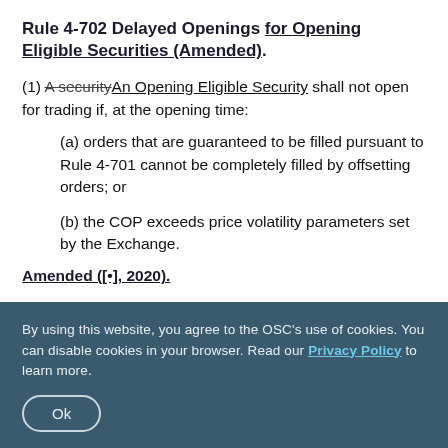Rule 4-702 Delayed Openings for Opening Eligible Securities (Amended).
(1) A security An Opening Eligible Security shall not open for trading if, at the opening time:
(a) orders that are guaranteed to be filled pursuant to Rule 4-701 cannot be completely filled by offsetting orders; or
(b) the COP exceeds price volatility parameters set by the Exchange.
Amended ([•], 2020).
By using this website, you agree to the OSC's use of cookies. You can disable cookies in your browser. Read our Privacy Policy to learn more.